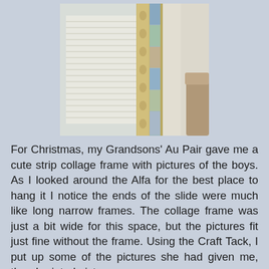[Figure (photo): A tall narrow decorative picture frame with ornate gold/beige patterned border, placed against a wall near a window with white horizontal blinds. Inside the frame are vertical strip photos of children. To the right is a beige wall and part of a brown chair or couch.]
For Christmas, my Grandsons' Au Pair gave me a cute strip collage frame with pictures of the boys. As I looked around the Alfa for the best place to hang it I notice the ends of the slide were much like long narrow frames. The collage frame was just a bit wide for this space, but the pictures fit just fine without the frame. Using the Craft Tack, I put up some of the pictures she had given me, then I printed pictures